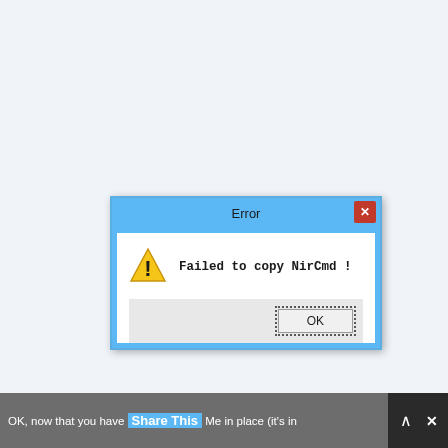[Figure (screenshot): Windows-style error dialog box with blue title bar showing 'Error', a red close button with X, a white content area with a yellow warning triangle icon and the message 'Failed to copy NirCmd !', a gray button area with an OK button outlined with dotted border.]
OK, now that you have Share This Me in place (it's in